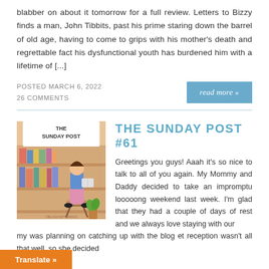blabber on about it tomorrow for a full review. Letters to Bizzy finds a man, John Tibbits, past his prime staring down the barrel of old age, having to come to grips with his mother's death and regrettable fact his dysfunctional youth has burdened him with a lifetime of [...]
POSTED MARCH 6, 2022
26 COMMENTS
read more »
[Figure (illustration): The Sunday Post blog logo illustration showing a person reading on a stool surrounded by a bookshelf, with text 'THE SUNDAY POST' on a banner]
THE SUNDAY POST #61
Greetings you guys! Aaah it's so nice to talk to all of you again. My Mommy and Daddy decided to take an impromptu looooong weekend last week. I'm glad that they had a couple of days of rest and we always love staying with our
my was planning on catching up with the blog et reception wasn't all that well, so she decided
Translate »